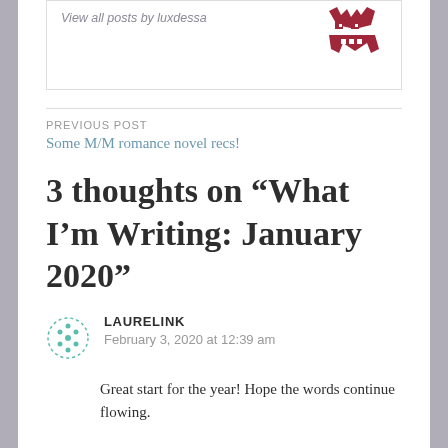View all posts by luxdessa
PREVIOUS POST
Some M/M romance novel recs!
3 thoughts on “What I’m Writing: January 2020”
LAURELINK
February 3, 2020 at 12:39 am
Great start for the year! Hope the words continue flowing.